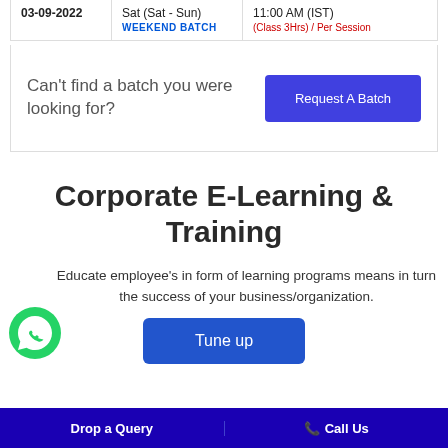| Date | Day | Time |
| --- | --- | --- |
| 03-09-2022 | Sat (Sat - Sun)
WEEKEND BATCH | 11:00 AM (IST)
(Class 3Hrs) / Per Session |
Can't find a batch you were looking for?
Request A Batch
Corporate E-Learning & Training
Educate employee's in form of learning programs means in turn the success of your business/organization.
Tune up
Drop a Query    📞 Call Us